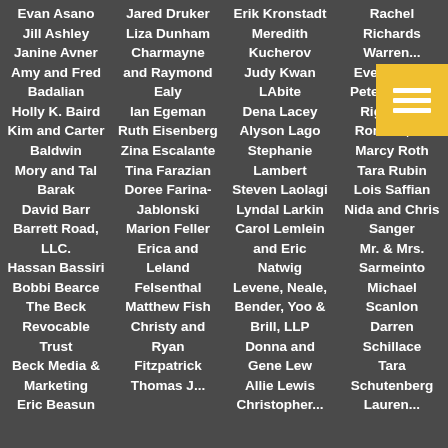Evan Asano
Jill Ashley
Janine Avner
Amy and Fred Badalian
Holly K. Baird
Kim and Carter Baldwin
Mory and Tal Barak
David Barr
Barrett Road, LLC.
Hassan Bassiri
Bobbi Bearce
The Beck Revocable Trust
Beck Media & Marketing
Eric Beasun
Jared Druker
Liza Dunham
Charmayne and Raymond Ealy
Ian Egeman
Ruth Eisenberg
Zina Escalante
Tina Farazian
Doree Farina-Jablonski
Marion Feller
Erica and Leland Felsenthal
Matthew Fish
Christy and Ryan Fitzpatrick
Thomas J...
Erik Kronstadt
Meredith Kucherov
Judy Kwan LAbite
Dena Lacey
Alyson Lago
Stephanie Lambert
Steven Laolagi
Lyndal Larkin
Carol Lemlein and Eric Natwig
Levene, Neale, Bender, Yoo & Brill, LLP
Donna and Gene Lew
Allie Lewis
Christopher...
Rachel Richards
Warren...
Eve Rodsky
Peter Rogers
Rigoberto Romero, Jr.
Marcy Roth
Tara Rubin
Lois Saffian
Nida and Chris Sanger
Mr. & Mrs. Sarmeinto
Michael Scanlon
Darren Schillace
Tara Schutenberg
Lauren...